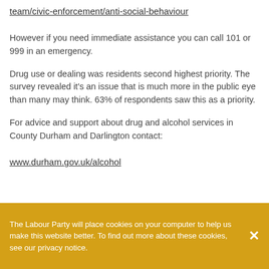team/civic-enforcement/anti-social-behaviour
However if you need immediate assistance you can call 101 or 999 in an emergency.
Drug use or dealing was residents second highest priority. The survey revealed it's an issue that is much more in the public eye than many may think. 63% of respondents saw this as a priority.
For advice and support about drug and alcohol services in County Durham and Darlington contact:
www.durham.gov.uk/alcohol
The Labour Party will place cookies on your computer to help us make this website better. To find out more about these cookies, see our privacy notice.